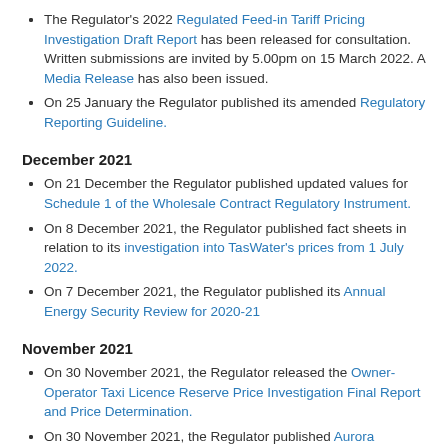The Regulator's 2022 Regulated Feed-in Tariff Pricing Investigation Draft Report has been released for consultation. Written submissions are invited by 5.00pm on 15 March 2022. A Media Release has also been issued.
On 25 January the Regulator published its amended Regulatory Reporting Guideline.
December 2021
On 21 December the Regulator published updated values for Schedule 1 of the Wholesale Contract Regulatory Instrument.
On 8 December 2021, the Regulator published fact sheets in relation to its investigation into TasWater's prices from 1 July 2022.
On 7 December 2021, the Regulator published its Annual Energy Security Review for 2020-21
November 2021
On 30 November 2021, the Regulator released the Owner-Operator Taxi Licence Reserve Price Investigation Final Report and Price Determination.
On 30 November 2021, the Regulator published Aurora Energy's Draft Standing Offer Tariff Strategy.
The Regulator has amended the electricity generation licence